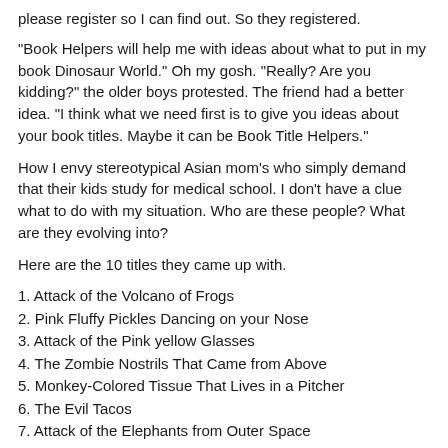please register so I can find out.  So they registered.
"Book Helpers will help me with ideas about what to put in my book Dinosaur World."  Oh my gosh.  "Really?  Are you kidding?" the older boys protested.  The friend had a better idea.  "I think what we need first is to give you ideas about your book titles.  Maybe it can be Book Title Helpers."
How I envy stereotypical Asian mom's who simply demand that their kids study for medical school.  I don't have a clue what to do with my situation.  Who are these people?  What are they evolving into?
Here are the 10 titles they came up with.
1.  Attack of the Volcano of Frogs
2.  Pink Fluffy Pickles Dancing on your Nose
3.  Attack of the Pink yellow Glasses
4.  The Zombie Nostrils That Came from Above
5.  Monkey-Colored Tissue That Lives in a Pitcher
6.  The Evil Tacos
7.  Attack of the Elephants from Outer Space